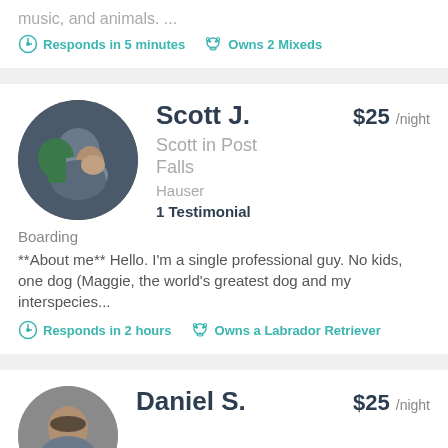music, and animals. ...
Responds in 5 minutes   Owns 2 Mixeds
[Figure (photo): Circular profile photo of Scott J. showing a couple holding a dog]
Scott J.
$25 /night
Scott in Post Falls
Hauser
1 Testimonial
Boarding
**About me** Hello. I'm a single professional guy. No kids, one dog (Maggie, the world's greatest dog and my interspecies...
Responds in 2 hours   Owns a Labrador Retriever
[Figure (photo): Circular profile photo of Daniel S., partial view]
Daniel S.
$25 /night